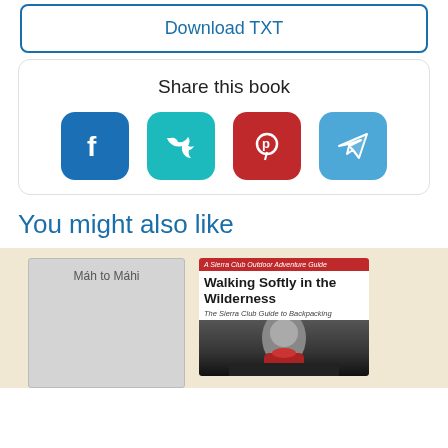[Figure (screenshot): Download TXT button with blue border and blue text]
Share this book
[Figure (infographic): Social sharing icons: Facebook (blue), Twitter (teal), Pinterest (red), Telegram (light blue)]
You might also like
[Figure (photo): Book cover placeholder showing 'Máh to Máhi' text on gray background]
[Figure (photo): Book cover for 'Walking Softly in the Wilderness: The Sierra Club Guide to Backpacking', A Sierra Club Outdoor Adventure Guide]